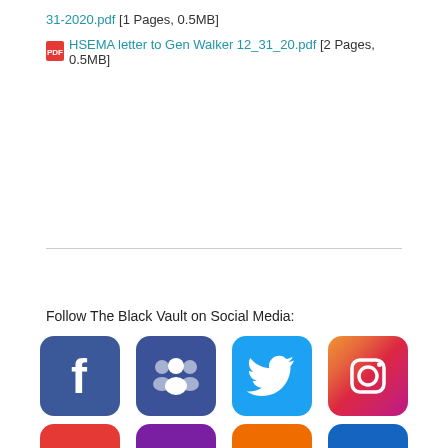31-2020.pdf [1 Pages, 0.5MB]
HSEMA letter to Gen Walker 12_31_20.pdf [2 Pages, 0.5MB]
Follow The Black Vault on Social Media:
[Figure (infographic): Row of four social media icon buttons: Facebook (dark blue with 'f'), Groups (dark blue with people icon), Twitter (light blue with bird), Instagram (gradient with camera icon). Below that, partial row of four more social media icons in red, purple, orange, and dark blue.]